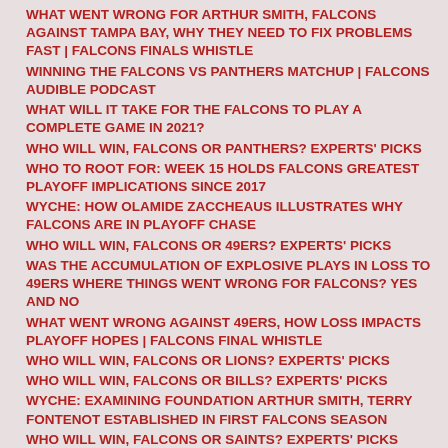WHAT WENT WRONG FOR ARTHUR SMITH, FALCONS AGAINST TAMPA BAY, WHY THEY NEED TO FIX PROBLEMS FAST | FALCONS FINALS WHISTLE
WINNING THE FALCONS VS PANTHERS MATCHUP | FALCONS AUDIBLE PODCAST
WHAT WILL IT TAKE FOR THE FALCONS TO PLAY A COMPLETE GAME IN 2021?
WHO WILL WIN, FALCONS OR PANTHERS? EXPERTS' PICKS
WHO TO ROOT FOR: WEEK 15 HOLDS FALCONS GREATEST PLAYOFF IMPLICATIONS SINCE 2017
WYCHE: HOW OLAMIDE ZACCHEAUS ILLUSTRATES WHY FALCONS ARE IN PLAYOFF CHASE
WHO WILL WIN, FALCONS OR 49ERS? EXPERTS' PICKS
WAS THE ACCUMULATION OF EXPLOSIVE PLAYS IN LOSS TO 49ERS WHERE THINGS WENT WRONG FOR FALCONS? YES AND NO
WHAT WENT WRONG AGAINST 49ERS, HOW LOSS IMPACTS PLAYOFF HOPES | FALCONS FINAL WHISTLE
WHO WILL WIN, FALCONS OR LIONS? EXPERTS' PICKS
WHO WILL WIN, FALCONS OR BILLS? EXPERTS' PICKS
WYCHE: EXAMINING FOUNDATION ARTHUR SMITH, TERRY FONTENOT ESTABLISHED IN FIRST FALCONS SEASON
WHO WILL WIN, FALCONS OR SAINTS? EXPERTS' PICKS
WHAT HAPPENS NEXT AFTER 2021 SEASON ENDS WITH LOSS TO SAINTS | FALCONS FINAL WHISTLE